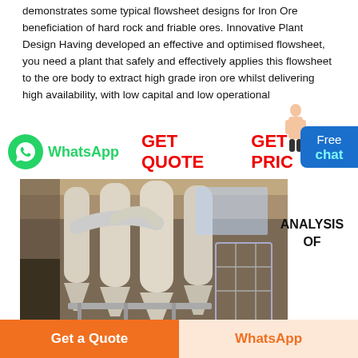demonstrates some typical flowsheet designs for Iron Ore beneficiation of hard rock and friable ores. Innovative Plant Design Having developed an effective and optimised flowsheet, you need a plant that safely and effectively applies this flowsheet to the ore body to extract high grade iron ore whilst delivering high availability, with low capital and low operational
[Figure (other): WhatsApp icon and label with GET QUOTE and GET PRICE buttons in red, and a Free chat blue button at right with a woman figure]
[Figure (photo): Industrial photo of large white cyclone dust collector equipment inside a factory building]
ANALYSIS OF
Get a Quote
WhatsApp